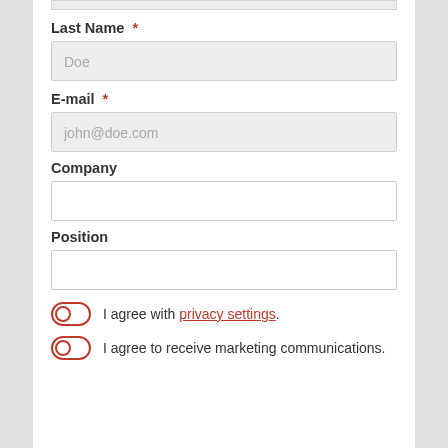Last Name *
Doe (placeholder)
E-mail *
john@doe.com (placeholder)
Company
Position
I agree with privacy settings.
I agree to receive marketing communications.